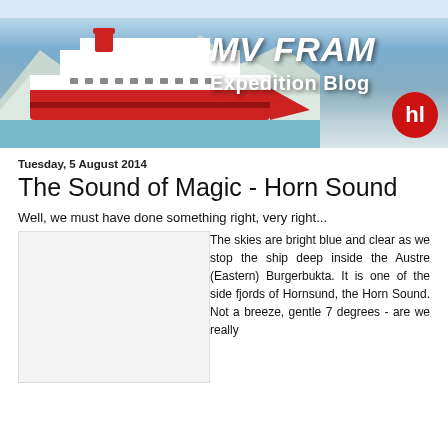[Figure (illustration): MV FRAM Expedition Blog banner with ship in icy waters and Hurtigruten logo]
Tuesday, 5 August 2014
The Sound of Magic - Horn Sound
Well, we must have done something right, very right...
[Figure (photo): Photo of Horn Sound / Burgerbukta scenery]
The skies are bright blue and clear as we stop the ship deep inside the Austre (Eastern) Burgerbukta. It is one of the side fjords of Hornsund, the Horn Sound. Not a breeze, gentle 7 degrees - are we really